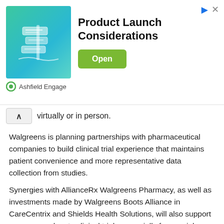[Figure (infographic): Advertisement banner for 'Product Launch Considerations' by Ashfield Engage, with a teal gradient image with signpost illustration, a bold title, and a green 'Open' button.]
virtually or in person.
Walgreens is planning partnerships with pharmaceutical companies to build clinical trial experience that maintains patient convenience and more representative data collection from studies.
Synergies with AllianceRx Walgreens Pharmacy, as well as investments made by Walgreens Boots Alliance in CareCentrix and Shields Health Solutions, will also support new approaches to clinical trials, especially for special indications.
With the launch of Walgreens' clinical trial business, the company's goal is to increase the percentage of the U.S. population participating in research that is now below 5%.